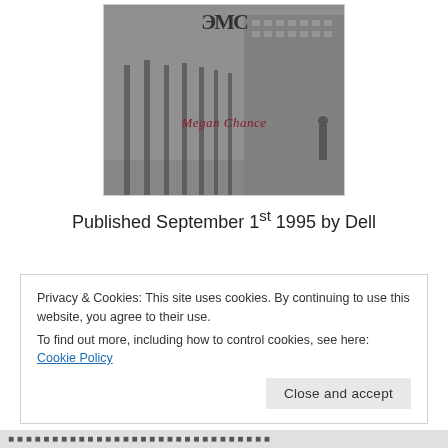[Figure (illustration): Book cover of a novel by Megan Chance, showing a grayscale urban street scene with columns/pillars of a building in the background. The cover has a decorative monogram at the top and the author name 'Megan Chance' in dark red italic text.]
Published September 1st 1995 by Dell
Privacy & Cookies: This site uses cookies. By continuing to use this website, you agree to their use.
To find out more, including how to control cookies, see here: Cookie Policy
Close and accept